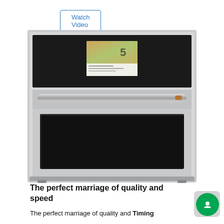Watch Video
[Figure (photo): Front view of a stainless steel wall oven with black control panel at top featuring a digital touchscreen display, a horizontal bar handle in the middle, and a large oven window below. The appliance appears to be a GE Café or similar premium brand smart oven.]
The perfect marriage of quality and speed
The perfect marriage of quality and Timing